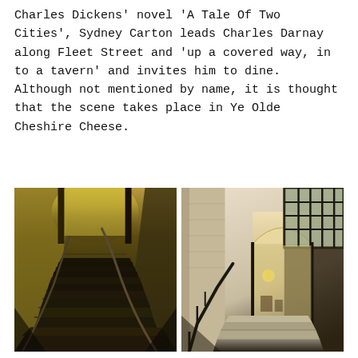Charles Dickens' novel 'A Tale Of Two Cities', Sydney Carton leads Charles Darnay along Fleet Street and 'up a covered way, in to a tavern' and invites him to dine. Although not mentioned by name, it is thought that the scene takes place in Ye Olde Cheshire Cheese.
[Figure (photo): Dark interior photograph of a narrow staircase with wooden steps leading upward, dim yellowish lighting at the top, handrail visible on the right side, aged walls.]
[Figure (photo): Interior photograph of a stone-walled tavern entrance area with steps, a black metal railing, a barred window with lead-light glass, arched doorway, warm ambient lighting.]